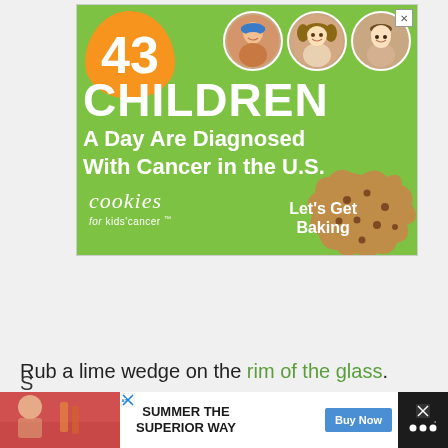[Figure (infographic): Green advertisement banner for 'Cookies for Kids Cancer'. Shows '43 CHILDREN A Day Are Diagnosed With Cancer in the U.S.' with three children's photos in circles and a cookie shape. Let's Get Baking text.]
Rub a lime wedge on the rim of the glass.
[Figure (infographic): Bottom advertisement strip with summer promotion 'SUMMER THE SUPERIOR WAY' with Buy Now button and partial image of people at a table.]